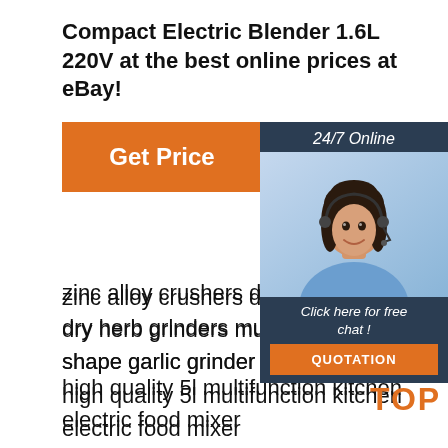Compact Electric Blender 1.6L 220V at the best online prices at eBay!
[Figure (other): Orange 'Get Price' button]
[Figure (other): 24/7 Online chat widget with agent photo, 'Click here for free chat!' text, and orange QUOTATION button]
zinc alloy crushers dollar heart lette...
dry herb grinders multi pattern cre... shape garlic grinder
high quality 5l multifunction kitchen... electric food mixer
best price electric meat grinder 2l stainless steel meat grinder chopper automatic
12l mini toaster electric oven etl cb rohs lfgb
hot sell vegetable tools onion holder food slicer
[Figure (other): Orange TOP badge with decorative dots]